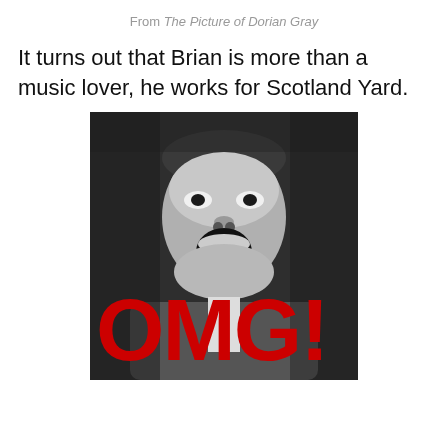From The Picture of Dorian Gray
It turns out that Brian is more than a music lover, he works for Scotland Yard.
[Figure (photo): Black and white photo of a man with mouth wide open in shock, overlaid with bold red text reading 'OMG!']